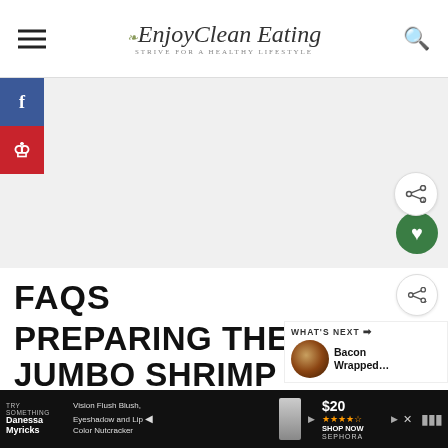EnjoyClean Eating — STRIVE FOR A HEALTHY LIFESTYLE
[Figure (screenshot): Large blank advertisement/image area with social share sidebar (Facebook and Pinterest buttons) on the left, and a green heart button at the bottom right]
FAQS
PREPARING THE RAW JUMBO SHRIMP
[Figure (infographic): What's Next panel showing a thumbnail of Bacon Wrapped recipe]
[Figure (screenshot): Advertisement banner: TRY SOMETHING Danessa Myricks — Vision Flush Blush, Eyeshadow and Lip Color Nutcracker — $20 ★★★★★ SHOP NOW SEPHORA]